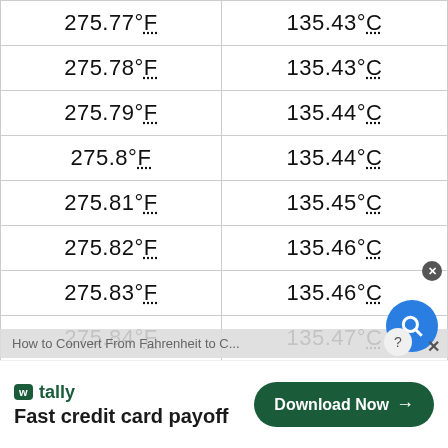| °F | °C |
| --- | --- |
| 275.77°F | 135.43°C |
| 275.78°F | 135.43°C |
| 275.79°F | 135.44°C |
| 275.8°F | 135.44°C |
| 275.81°F | 135.45°C |
| 275.82°F | 135.46°C |
| 275.83°F | 135.46°C |
| 275.84°F | 135.47°C |
How to Convert From Fahrenheit to C...